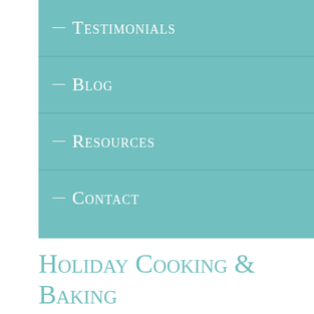Testimonials
Blog
Resources
Contact
Holiday Cooking & Baking
December 14, 2012
Does anyone else feel like holiday food can take over your house! I have to admit it is one of my favorite things about the holidays too!!!  I enjoy entertaining and making my favorite foods to share with others.  I can't pass up the opportunity to